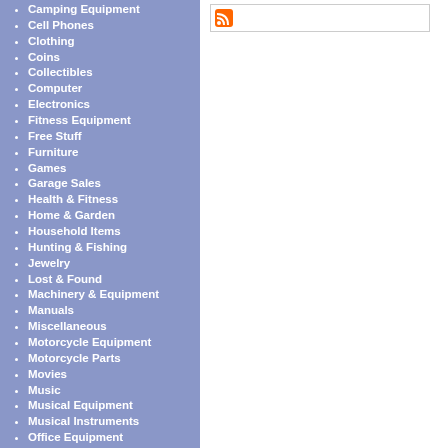[Figure (other): RSS feed icon in a white bordered box]
Camping Equipment
Cell Phones
Clothing
Coins
Collectibles
Computer
Electronics
Fitness Equipment
Free Stuff
Furniture
Games
Garage Sales
Health & Fitness
Home & Garden
Household Items
Hunting & Fishing
Jewelry
Lost & Found
Machinery & Equipment
Manuals
Miscellaneous
Motorcycle Equipment
Motorcycle Parts
Movies
Music
Musical Equipment
Musical Instruments
Office Equipment
Pet Supplies
Pets
Plumbing Parts
Pool Equipment
Radios & TVs
Sport Equipment
Tools
Toys
Trailer Parts
Wanted